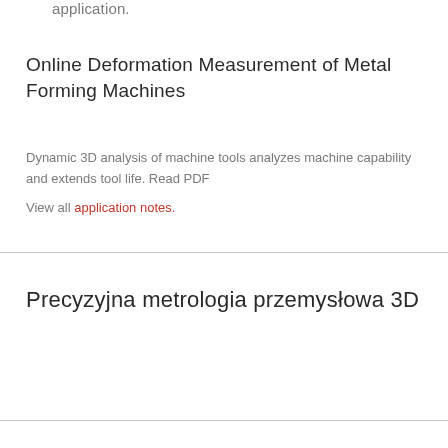application.
Online Deformation Measurement of Metal Forming Machines
Dynamic 3D analysis of machine tools analyzes machine capability and extends tool life. Read PDF
View all application notes.
Precyzyjna metrologia przemysłowa 3D